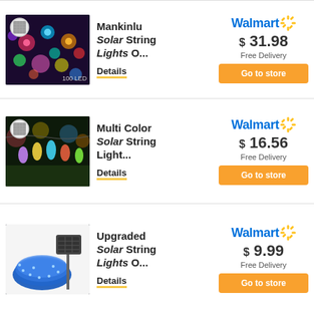[Figure (photo): Colorful multi-color solar string lights with flower-shaped bulbs, labeled 100 LED]
Mankinlu Solar String Lights O...
Details
[Figure (logo): Walmart logo with spark]
$ 31.98
Free Delivery
Go to store
[Figure (photo): Multi-color solar string lights with teardrop-shaped bulbs on grass]
Multi Color Solar String Light...
Details
[Figure (logo): Walmart logo with spark]
$ 16.56
Free Delivery
Go to store
[Figure (photo): Upgraded solar string lights coil in blue with solar panel on stand]
Upgraded Solar String Lights O...
Details
[Figure (logo): Walmart logo with spark]
$ 9.99
Free Delivery
Go to store